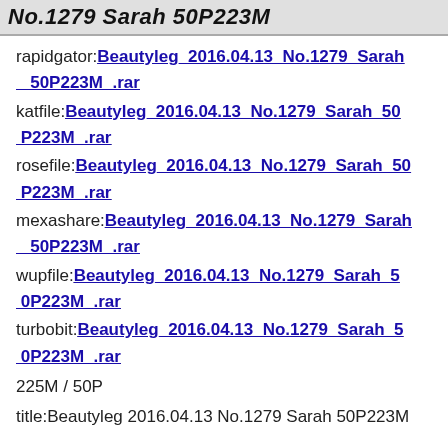No.1279 Sarah 50P223M
rapidgator:Beautyleg_2016.04.13_No.1279_Sarah_50P223M_.rar
katfile:Beautyleg_2016.04.13_No.1279_Sarah_50P223M_.rar
rosefile:Beautyleg_2016.04.13_No.1279_Sarah_50P223M_.rar
mexashare:Beautyleg_2016.04.13_No.1279_Sarah_50P223M_.rar
wupfile:Beautyleg_2016.04.13_No.1279_Sarah_50P223M_.rar
turbobit:Beautyleg_2016.04.13_No.1279_Sarah_50P223M_.rar
225M / 50P
title:Beautyleg 2016.04.13 No.1279 Sarah 50P223M